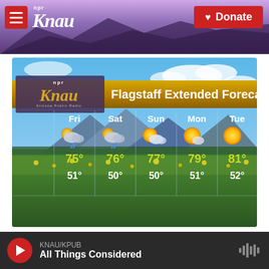[Figure (screenshot): KNAU NPR radio website header with logo, hamburger menu, mountain background, and red Donate button]
[Figure (infographic): Flagstaff Extended Forecast weather graphic showing 5-day forecast: Fri 75/51, Sat 76/50, Sun 77/50, Mon 79/51, Tue 81/52 degrees, with weather icons (thunderstorms Friday/Saturday, partly cloudy Sun/Mon, sunny Tuesday), KNAU logo overlay, mountain/meadow background]
KNAU/KPUB All Things Considered